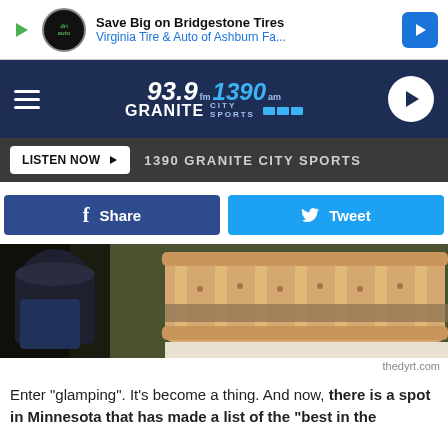[Figure (screenshot): Advertisement banner: Save Big on Bridgestone Tires - Virginia Tire & Auto of Ashburn Fa...]
[Figure (logo): 93.9 FM / 1390 AM Granite City Sports radio station logo on dark navy navigation bar with hamburger menu and play button]
LISTEN NOW ▶  1390 GRANITE CITY SPORTS
[Figure (screenshot): Facebook Share button (blue) and Twitter Tweet button (cyan) side by side]
[Figure (photo): Indoor photograph of a vintage iron bed with orange/tan bedspread in a rustic room with green paneled walls]
thedyrt.com
Enter "glamping".  It's become a thing.  And now, there is a spot in Minnesota that has made a list of the "best in the